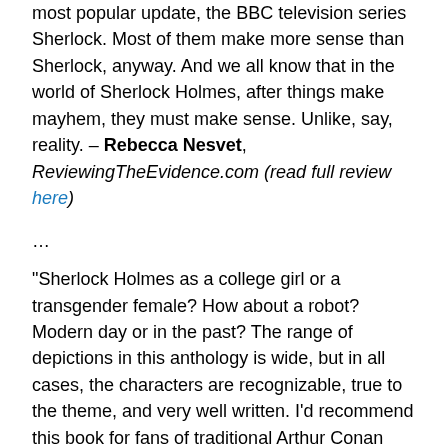most popular update, the BBC television series Sherlock. Most of them make more sense than Sherlock, anyway. And we all know that in the world of Sherlock Holmes, after things make mayhem, they must make sense. Unlike, say, reality. – Rebecca Nesvet, ReviewingTheEvidence.com (read full review here)
…
“Sherlock Holmes as a college girl or a transgender female? How about a robot? Modern day or in the past? The range of depictions in this anthology is wide, but in all cases, the characters are recognizable, true to the theme, and very well written. I’d recommend this book for fans of traditional Arthur Conan Doyle mysteries, for fans of sci-fi/fantasy, and especially for fans of both! I still have two stories to read and don’t want the book to end.” – V. Hartman DiSanto